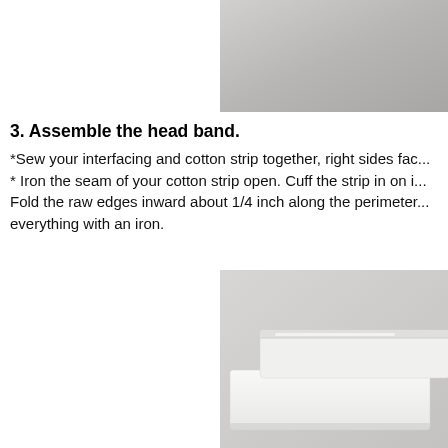[Figure (photo): Top portion of a crafting photo showing grey background, partial view of white fabric or headband material]
3. Assemble the head band.
*Sew your interfacing and cotton strip together, right sides fac... * Iron the seam of your cotton strip open. Cuff the strip in on i... Fold the raw edges inward about 1/4 inch along the perimeter... everything with an iron.
[Figure (photo): Photo showing white folded fabric strips (headband assembly) on a light grey background, viewed from above at an angle]